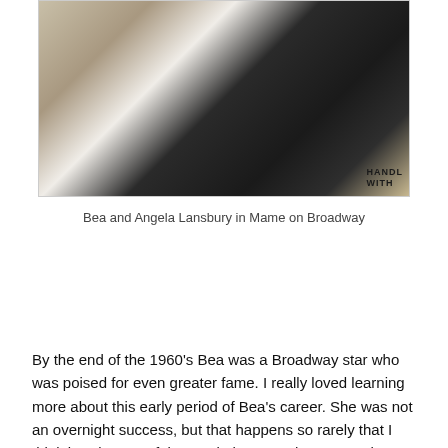[Figure (photo): Black and white photo showing Bea and Angela Lansbury in Mame on Broadway. Two figures visible — one in light/white clothing on left, one in dark/black clothing on right. Partial text 'HANDL WITH' visible in lower right corner.]
Bea and Angela Lansbury in Mame on Broadway
By the end of the 1960's Bea was a Broadway star who was poised for even greater fame. I really loved learning more about this early period of Bea's career. She was not an overnight success, but that happens so rarely that I think it's almost unfair to tack that on to her story. She worked hard at developing her chosen craft, and it paid off with roles that were suited to her unique abilities and personality.